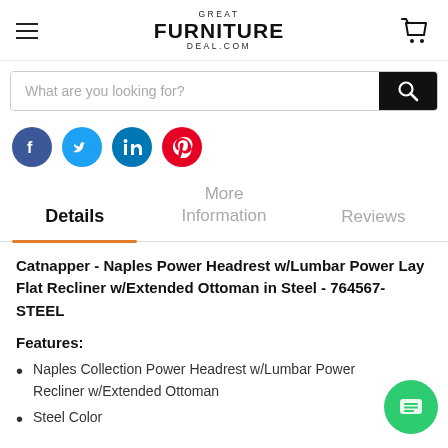Great Furniture Deal .com
[Figure (screenshot): Search bar with placeholder text 'What are you looking for?' and black search button]
[Figure (infographic): Social media share icons: Facebook, Twitter, LinkedIn, Pinterest]
Details | More Information | Reviews
Catnapper - Naples Power Headrest w/Lumbar Power Lay Flat Recliner w/Extended Ottoman in Steel - 764567-STEEL
Features:
Naples Collection Power Headrest w/Lumbar Power Recliner w/Extended Ottoman
Steel Color